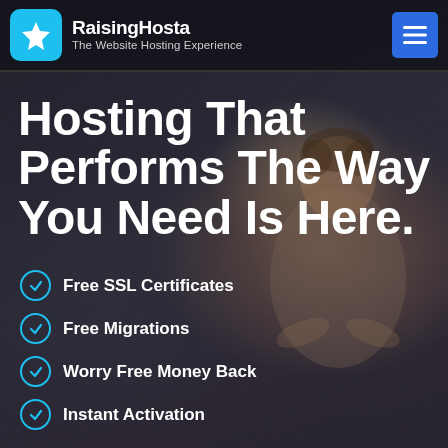RaisingHosta — The Website Hosting Experience
Hosting That Performs The Way You Need Is Here.
Free SSL Certificates
Free Migrations
Worry Free Money Back
Instant Activation
Free Trial Hosting →